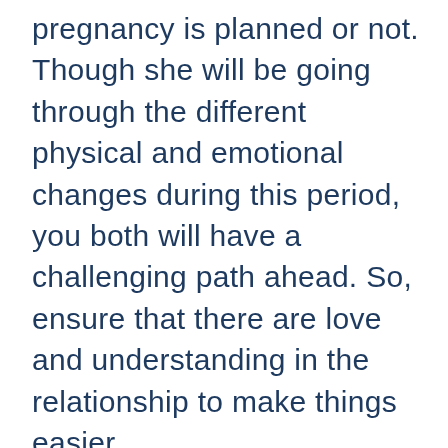pregnancy is planned or not. Though she will be going through the different physical and emotional changes during this period, you both will have a challenging path ahead. So, ensure that there are love and understanding in the relationship to make things easier.